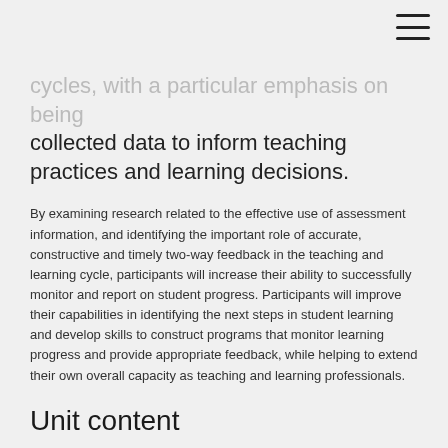cycles, with a particular emphasis on using collected data to inform teaching practices and learning decisions.
By examining research related to the effective use of assessment information, and identifying the important role of accurate, constructive and timely two-way feedback in the teaching and learning cycle, participants will increase their ability to successfully monitor and report on student progress. Participants will improve their capabilities in identifying the next steps in student learning and develop skills to construct programs that monitor learning progress and provide appropriate feedback, while helping to extend their own overall capacity as teaching and learning professionals.
Unit content
Using assessment conclusions as starting points for